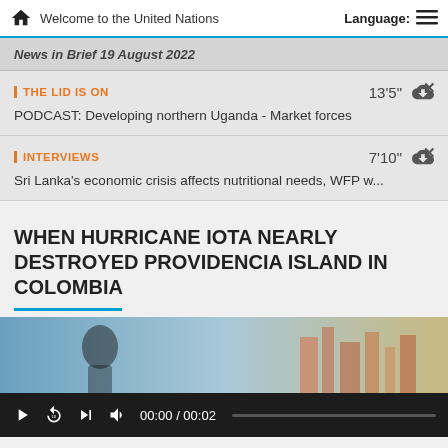Welcome to the United Nations | Language:
News in Brief 19 August 2022
THE LID IS ON | 13'5" | PODCAST: Developing northern Uganda - Market forces
INTERVIEWS | 7'10" | Sri Lanka's economic crisis affects nutritional needs, WFP w...
WHEN HURRICANE IOTA NEARLY DESTROYED PROVIDENCIA ISLAND IN COLOMBIA
[Figure (screenshot): Video thumbnail showing a person and damaged building structures]
00:00 / 00:02